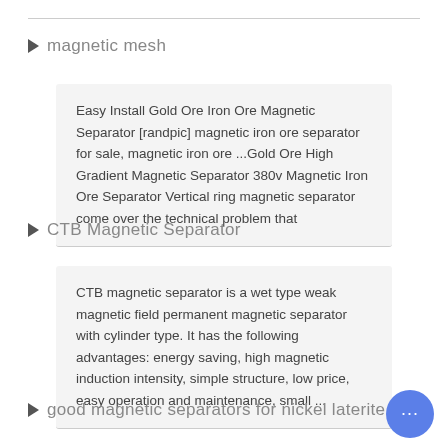magnetic mesh
Easy Install Gold Ore Iron Ore Magnetic Separator [randpic] magnetic iron ore separator for sale, magnetic iron ore ...Gold Ore High Gradient Magnetic Separator 380v Magnetic Iron Ore Separator Vertical ring magnetic separator come over the technical problem that
CTB Magnetic Separator
CTB magnetic separator is a wet type weak magnetic field permanent magnetic separator with cylinder type. It has the following advantages: energy saving, high magnetic induction intensity, simple structure, low price, easy operation and maintenance, small ...
good magnetic separators for nickel laterite ore